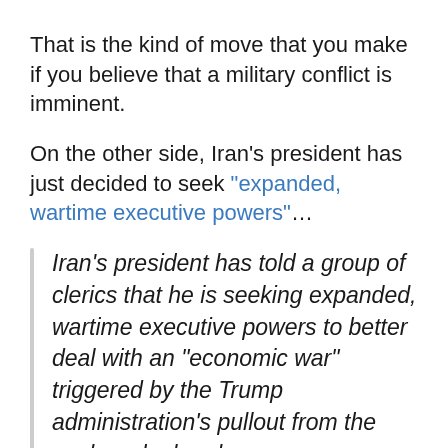That is the kind of move that you make if you believe that a military conflict is imminent.
On the other side, Iran's president has just decided to seek "expanded, wartime executive powers"...
Iran's president has told a group of clerics that he is seeking expanded, wartime executive powers to better deal with an "economic war" triggered by the Trump administration's pullout from the nuclear deal and